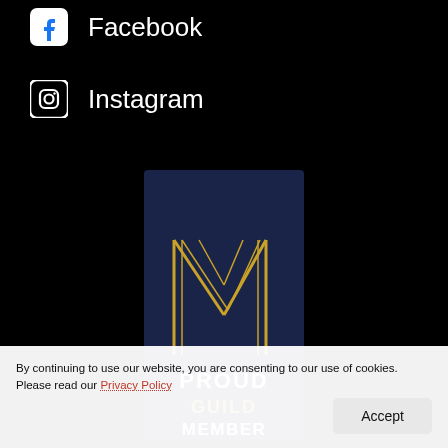Facebook
Instagram
[Figure (logo): Proud Guild Gold Member badge — dark navy background with a stylized golden M logo, text PROUD in white, GUILD in gold, MEMBER in white]
By continuing to use our website, you are consenting to our use of cookies. Please read our Privacy Policy
Accept